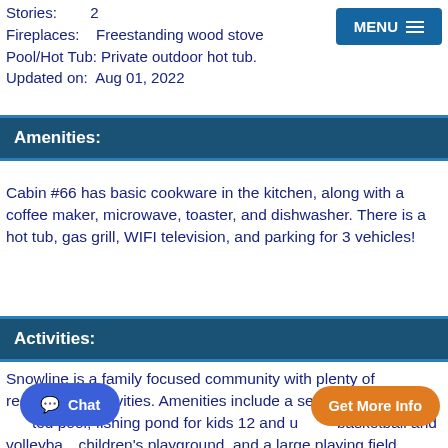Stories: 2
Fireplaces: Freestanding wood stove
Pool/Hot Tub: Private outdoor hot tub.
Updated on: Aug 01, 2022
Amenities:
Cabin #66 has basic cookware in the kitchen, along with a coffee maker, microwave, toaster, and dishwasher. There is a hot tub, gas grill, WIFI television, and parking for 3 vehicles!
Activities:
Snowline is a family focused community with plenty of recreational activities. Amenities include a seasonal outdoor heated pool, fishing pond for kids 12 and under, basketball and volleyball, children's playground, and a large playing field. There